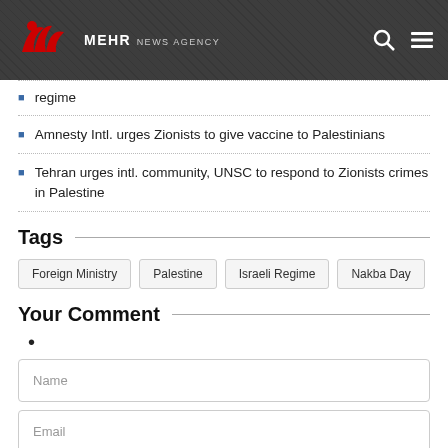MEHR NEWS AGENCY
regime
Amnesty Intl. urges Zionists to give vaccine to Palestinians
Tehran urges intl. community, UNSC to respond to Zionists crimes in Palestine
Tags
Foreign Ministry
Palestine
Israeli Regime
Nakba Day
Your Comment
•
Name
Email
Your Comment